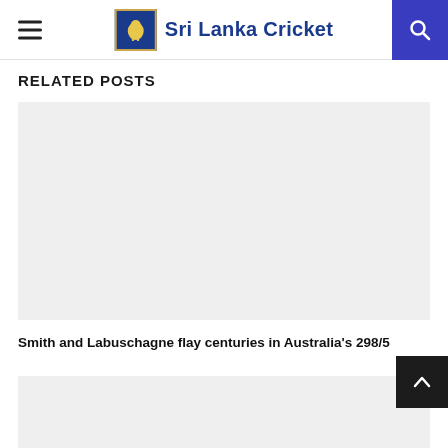Sri Lanka Cricket
RELATED POSTS
[Figure (photo): Large image placeholder (light grey background) for a related post article]
Smith and Labuschagne flay centuries in Australia's 298/5
[Figure (photo): Partial image placeholder (light grey background) for a second related post article, cropped at bottom of page]